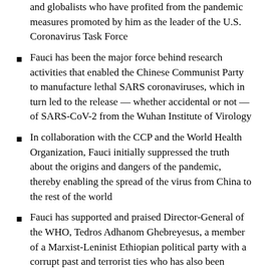and globalists who have profited from the pandemic measures promoted by him as the leader of the U.S. Coronavirus Task Force
Fauci has been the major force behind research activities that enabled the Chinese Communist Party to manufacture lethal SARS coronaviruses, which in turn led to the release — whether accidental or not — of SARS-CoV-2 from the Wuhan Institute of Virology
In collaboration with the CCP and the World Health Organization, Fauci initially suppressed the truth about the origins and dangers of the pandemic, thereby enabling the spread of the virus from China to the rest of the world
Fauci has supported and praised Director-General of the WHO, Tedros Adhanom Ghebreyesus, a member of a Marxist-Leninist Ethiopian political party with a corrupt past and terrorist ties who has also been accused of covering up cholera outbreaks in Ethiopia
Fauci has established or is which leading in...